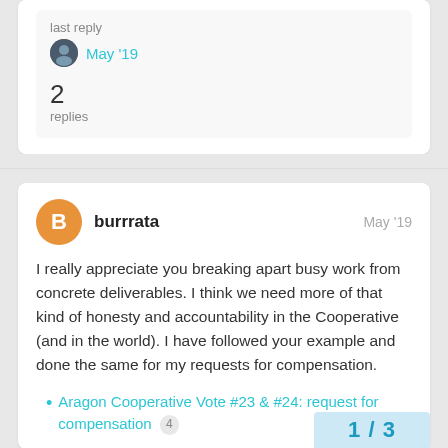last reply
May '19
2
replies
burrrata
May '19
I really appreciate you breaking apart busy work from concrete deliverables. I think we need more of that kind of honesty and accountability in the Cooperative (and in the world). I have followed your example and done the same for my requests for compensation.
Aragon Cooperative Vote #23 & #24: request for compensation 4
1 / 3